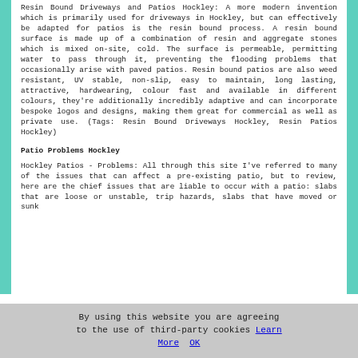Resin Bound Driveways and Patios Hockley: A more modern invention which is primarily used for driveways in Hockley, but can effectively be adapted for patios is the resin bound process. A resin bound surface is made up of a combination of resin and aggregate stones which is mixed on-site, cold. The surface is permeable, permitting water to pass through it, preventing the flooding problems that occasionally arise with paved patios. Resin bound patios are also weed resistant, UV stable, non-slip, easy to maintain, long lasting, attractive, hardwearing, colour fast and available in different colours, they're additionally incredibly adaptive and can incorporate bespoke logos and designs, making them great for commercial as well as private use. (Tags: Resin Bound Driveways Hockley, Resin Patios Hockley)
Patio Problems Hockley
Hockley Patios - Problems: All through this site I've referred to many of the issues that can affect a pre-existing patio, but to review, here are the chief issues that are liable to occur with a patio: slabs that are loose or unstable, trip hazards, slabs that have moved or sunk
By using this website you are agreeing to the use of third-party cookies Learn More  OK